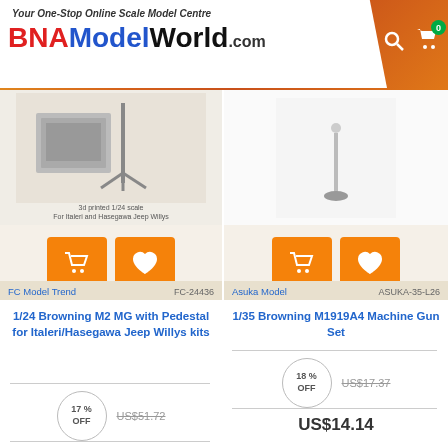BNAModelWorld.com - Your One-Stop Online Scale Model Centre
[Figure (photo): Product image: 3d printed 1/24 scale parts for Italeri and Hasegawa Jeep Willys]
[Figure (photo): Product image: 1/35 Browning M1919A4 Machine Gun Set by Asuka Model]
FC Model Trend
FC-24436
1/24 Browning M2 MG with Pedestal for Italeri/Hasegawa Jeep Willys kits
17% OFF
US$51.72
US$42.50
Asuka Model
ASUKA-35-L26
1/35 Browning M1919A4 Machine Gun Set
18% OFF
US$17.37
US$14.14
[Figure (photo): War Front product image at bottom]
Filter Products
WAR FRONT